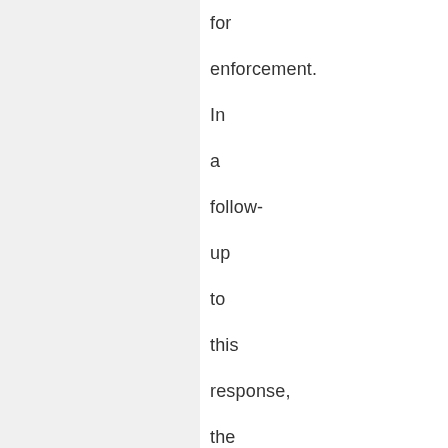for enforcement. In a follow-up to this response, the petitions were erased on 17.12.17, with the judges noting the State's commitment to c